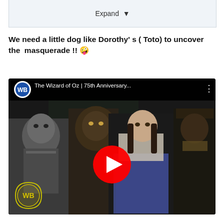[Figure (screenshot): Expand button UI element at top of a web post]
We need a little dog like Dorothy' s ( Toto) to uncover the masquerade !! 🤪
[Figure (screenshot): YouTube video thumbnail for 'The Wizard of Oz | 75th Anniversary...' showing Dorothy and characters with WB logo and red play button]